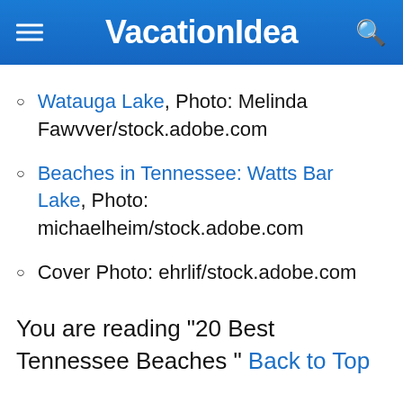VacationIdea
Watauga Lake, Photo: Melinda Fawvver/stock.adobe.com
Beaches in Tennessee: Watts Bar Lake, Photo: michaelheim/stock.adobe.com
Cover Photo: ehrlif/stock.adobe.com
You are reading "20 Best Tennessee Beaches " Back to Top